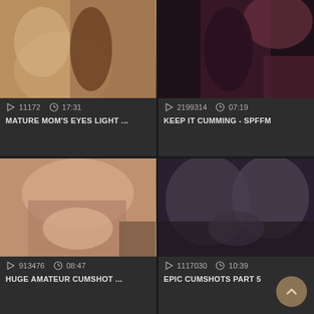[Figure (screenshot): Video thumbnail grid cell top-left]
11172  17:31
MATURE MOM'S EYES LIGHT ...
[Figure (screenshot): Video thumbnail grid cell top-right]
2199314  07:19
KEEP IT CUMMING - SPFFM
[Figure (screenshot): Video thumbnail grid cell bottom-left]
913476  08:47
HUGE AMATEUR CUMSHOT ...
[Figure (screenshot): Video thumbnail grid cell bottom-right]
1117030  10:39
EPIC CUMSHOTS PART 5